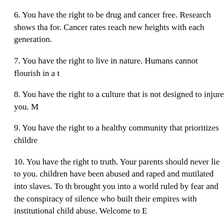6. You have the right to be drug and cancer free. Research shows that Cancer rates reach new heights with each generation.
7. You have the right to live in nature. Humans cannot flourish in a t
8. You have the right to a culture that is not designed to injure you. M
9. You have the right to a healthy community that prioritizes childre
10. You have the right to truth. Your parents should never lie to you. children have been abused and raped and mutilated into slaves. To th brought you into a world ruled by fear and the conspiracy of silence who built their empires with institutional child abuse. Welcome to E